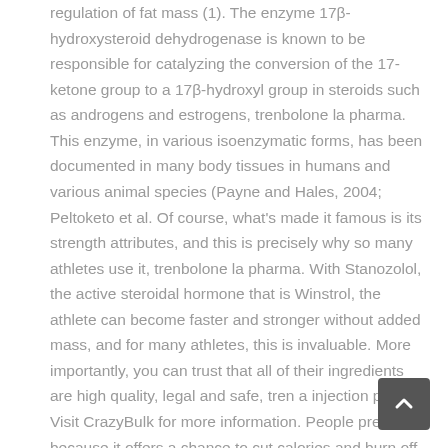regulation of fat mass (1). The enzyme 17β-hydroxysteroid dehydrogenase is known to be responsible for catalyzing the conversion of the 17-ketone group to a 17β-hydroxyl group in steroids such as androgens and estrogens, trenbolone la pharma. This enzyme, in various isoenzymatic forms, has been documented in many body tissues in humans and various animal species (Payne and Hales, 2004; Peltoketo et al. Of course, what's made it famous is its strength attributes, and this is precisely why so many athletes use it, trenbolone la pharma. With Stanozolol, the active steroidal hormone that is Winstrol, the athlete can become faster and stronger without added mass, and for many athletes, this is invaluable. More importantly, you can trust that all of their ingredients are high quality, legal and safe, tren a injection price. Visit CrazyBulk for more information. People prefer it because it offers a chance to cut calories and burn off body fat without losing muscle gain growth during cutting cycles. The usual dose for athletes and bodybuilders is 25mg to 50mg per day, although competitive bodybuilders who have